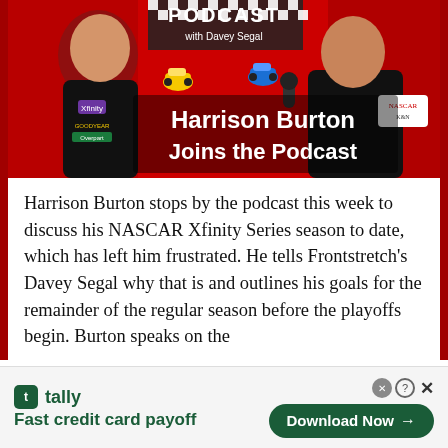[Figure (photo): Podcast promotional image with red background showing two men (Harrison Burton in racing suit on left, Davey Segal with microphone on right), NASCAR toy cars in center, checkered flag pattern, text 'Harrison Burton Joins the Podcast' with 'with Davey Segal' subtitle]
Harrison Burton stops by the podcast this week to discuss his NASCAR Xfinity Series season to date, which has left him frustrated. He tells Frontstretch's Davey Segal why that is and outlines his goals for the remainder of the regular season before the playoffs begin. Burton speaks on the
[Figure (other): Tally advertisement banner: green Tally logo icon, 'tally' text, 'Fast credit card payoff' tagline on left; 'Download Now' button with arrow on right; close/help buttons top right]